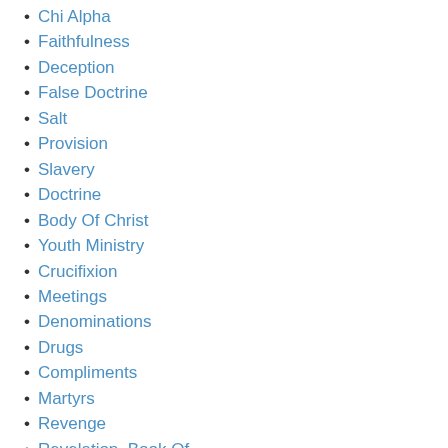Chi Alpha
Faithfulness
Deception
False Doctrine
Salt
Provision
Slavery
Doctrine
Body Of Christ
Youth Ministry
Crucifixion
Meetings
Denominations
Drugs
Compliments
Martyrs
Revenge
Revelation, Book Of
Blessing
Benediction
New York
Confidence
Asking